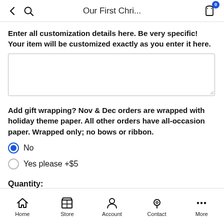Our First Chri...
Enter all customization details here. Be very specific! Your item will be customized exactly as you enter it here.
Add gift wrapping? Nov & Dec orders are wrapped with holiday theme paper. All other orders have all-occasion paper. Wrapped only; no bows or ribbon.
No (selected)
Yes please +$5
Quantity:
Home | Store | Account | Contact | More